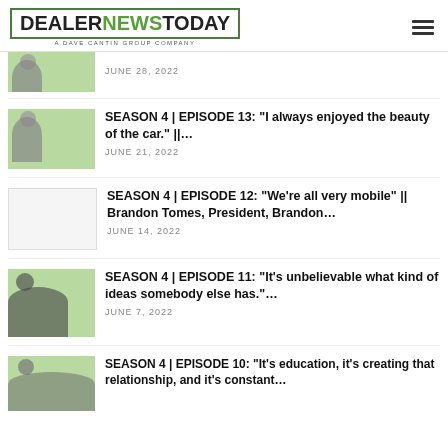DEALER NEWS TODAY | A DAVE CANTIN GROUP COMPANY
JUNE 28, 2022
SEASON 4 | EPISODE 13: "I always enjoyed the beauty of the car." ||... | JUNE 21, 2022
SEASON 4 | EPISODE 12: "We're all very mobile" || Brandon Tomes, President, Brandon... | JUNE 14, 2022
SEASON 4 | EPISODE 11: "It's unbelievable what kind of ideas somebody else has."... | JUNE 7, 2022
SEASON 4 | EPISODE 10: "It's education, it's creating that relationship, and it's constant...